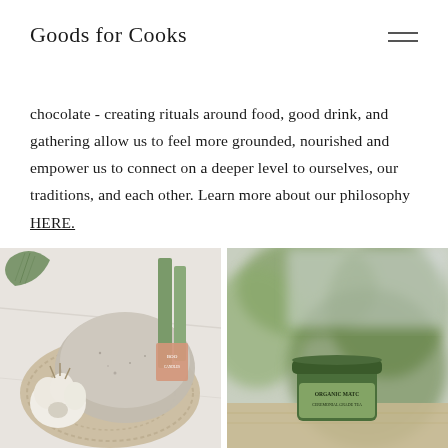Goods for Cooks
chocolate - creating rituals around food, good drink, and gathering allow us to feel more grounded, nourished and empower us to connect on a deeper level to ourselves, our traditions, and each other. Learn more about our philosophy HERE.
[Figure (photo): Overhead flat lay of a speckled ceramic bowl, green taper candles in a holder with a salmon-colored label (BOO), a macrame woven placemat, and a whole garlic bulb on a white marble surface with a green leaf-shaped ceramic dish]
[Figure (photo): Outdoor blurred green foliage background with a small green-lidded jar labeled 'Organic Matcha' sitting on what appears to be a woven surface]